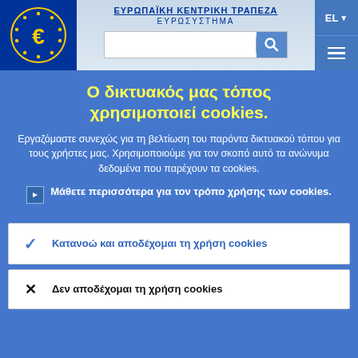ΕΥΡΩΠΑΪΚΗ ΚΕΝΤΡΙΚΗ ΤΡΑΠΕΖΑ / ΕΥΡΩΣΥΣΤΗΜΑ
Ο δικτυακός μας τόπος χρησιμοποιεί cookies.
Εργαζόμαστε συνεχώς για τη βελτίωση του παρόντα δικτυακού τόπου για τους χρήστες μας. Χρησιμοποιούμε για τον σκοπό αυτό τα ανώνυμα δεδομένα που παρέχουν τα cookies.
Μάθετε περισσότερα για τον τρόπο χρήσης των cookies.
Κατανοώ και αποδέχομαι τη χρήση cookies
Δεν αποδέχομαι τη χρήση cookies